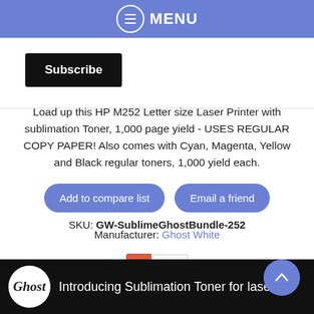MENU
Subscribe
Load up this HP M252 Letter size Laser Printer with sublimation Toner, 1,000 page yield - USES REGULAR COPY PAPER! Also comes with Cyan, Magenta, Yellow and Black regular toners, 1,000 yield each.
Add to compare list   Email a friend
SKU: GW-SublimeGhostBundle-252
Manufacturer: Ghost White
+ 0
Introducing Sublimation Toner for laser printers